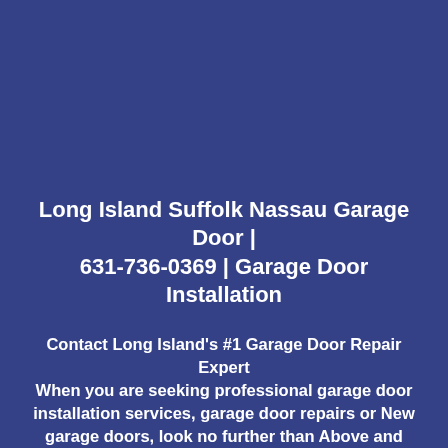Long Island Suffolk Nassau Garage Door | 631-736-0369 | Garage Door Installation
Contact Long Island's #1 Garage Door Repair Expert
When you are seeking professional garage door installation services, garage door repairs or New garage doors, look no further than Above and Beyond Garage Door...